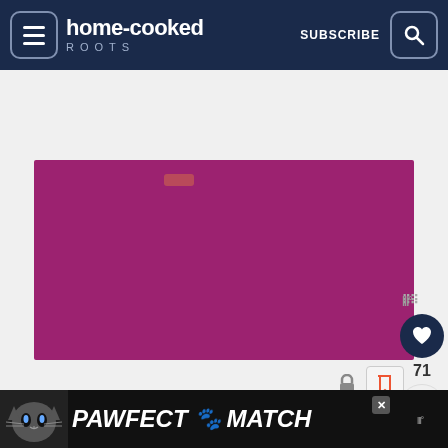home-cooked ROOTS — SUBSCRIBE
[Figure (photo): Solid purple/magenta colored rectangular image placeholder with small accent shape at top]
OTHER SUGGESTIONS
search text
[Figure (photo): Bottom advertisement banner: PAWFECT MATCH with cat illustration on dark background]